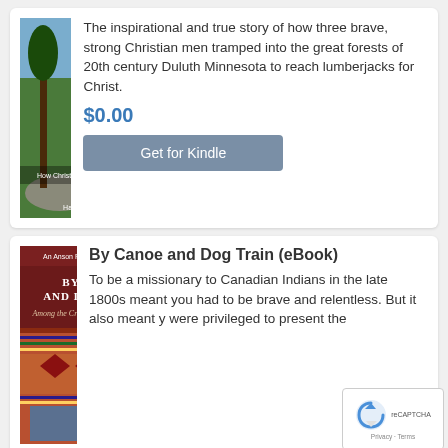[Figure (photo): Book cover for 'The Land of the Giants: How Christ Came to the Lumberjacks' by Harry Rimmer, L.L.D. Shows a forest with tall trees and rocks.]
The inspirational and true story of how three brave, strong Christian men tramped into the great forests of 20th century Duluth Minnesota to reach lumberjacks for Christ.
$0.00
Get for Kindle
[Figure (photo): Book cover for 'By Canoe and Dog Train (eBook)' — Among the Cree and Saulteaux Indians. Dark red cover with white title text.]
By Canoe and Dog Train (eBook)
To be a missionary to Canadian Indians in the late 1800s meant you had to be brave and relentless. But it also meant y were privileged to present the